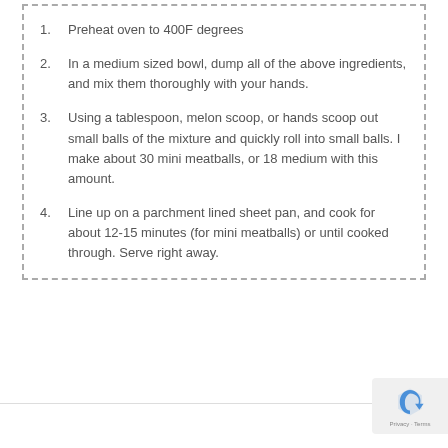1. Preheat oven to 400F degrees
2. In a medium sized bowl, dump all of the above ingredients, and mix them thoroughly with your hands.
3. Using a tablespoon, melon scoop, or hands scoop out small balls of the mixture and quickly roll into small balls. I make about 30 mini meatballs, or 18 medium with this amount.
4. Line up on a parchment lined sheet pan, and cook for about 12-15 minutes (for mini meatballs) or until cooked through. Serve right away.